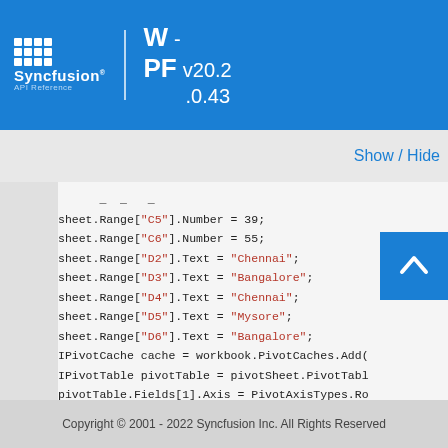Syncfusion API Reference WPF - v20.2.0.43
Show / Hide
sheet.Range["C5"].Number = 39;
sheet.Range["C6"].Number = 55;
sheet.Range["D2"].Text = "Chennai";
sheet.Range["D3"].Text = "Bangalore";
sheet.Range["D4"].Text = "Chennai";
sheet.Range["D5"].Text = "Mysore";
sheet.Range["D6"].Text = "Bangalore";
IPivotCache cache = workbook.PivotCaches.Add(
IPivotTable pivotTable = pivotSheet.PivotTable
pivotTable.Fields[1].Axis = PivotAxisTypes.Ro
pivotTable.Fields[3].Axis = PivotAxisTypes.Co
IPivotField datafield = pivotTable.Fields[2];
pivotTable.DataFields.Add(datafield "Sum of 
pivotTable.BuiltInStyle = PivotBuiltyles.
IPivotTableOptions pivotOption = pivotTable.O
Copyright © 2001 - 2022 Syncfusion Inc. All Rights Reserved